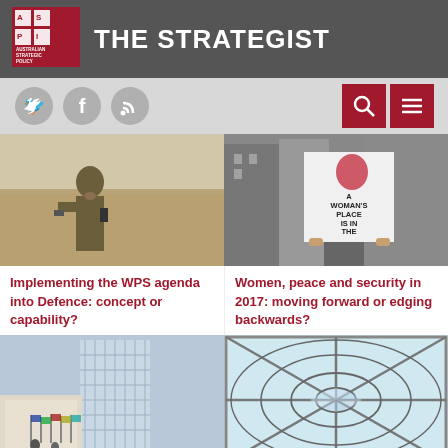THE STRATEGIST
[Figure (logo): ASPI Australian Strategic Policy Institute logo - red square with ASPI text]
[Figure (photo): Social media icons: Twitter bird, Facebook f, RSS feed symbol in grey circles]
[Figure (photo): Search icon and hamburger menu icon in dark red squares]
[Figure (photo): Female soldier in camouflage holding a radio in a desert landscape]
[Figure (photo): Person holding protest sign reading A WOMAN'S PLACE IS IN THE RESISTANCE in an urban setting]
Implementing the WPS agenda into Defence: concept or capability?
Women, peace and security in 2017: moving forward or edging backwards?
[Figure (photo): UN headquarters building with flags in front, people walking in foreground]
[Figure (photo): Glass ceiling with geometric grid pattern viewed from below]